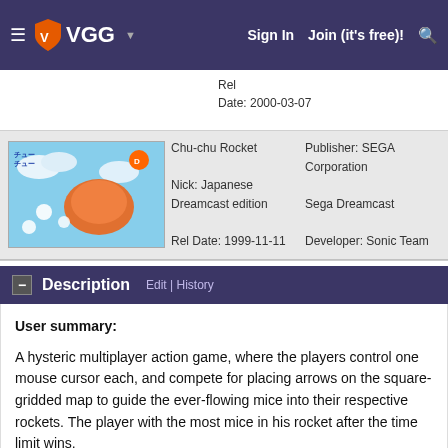VGG — Sign In | Join (it's free)!
| Image | Name/Nick/Rel Date | Publisher/Platform/Developer | Media/Region | Rating |
| --- | --- | --- | --- | --- |
|  | Rel Date: 2000-03-07 |  |  |  |
| [game cover image] | Chu-chu Rocket
Nick: Japanese Dreamcast edition
Rel Date: 1999-11-11 | Publisher: SEGA Corporation
Sega Dreamcast
Developer: Sonic Team | Media: GD-ROM
Region: | Rating Japan |
Description
User summary:
A hysteric multiplayer action game, where the players control one mouse cursor each, and compete for placing arrows on the square-gridded map to guide the ever-flowing mice into their respective rockets. The player with the most mice in his rocket after the time limit wins.
Characters